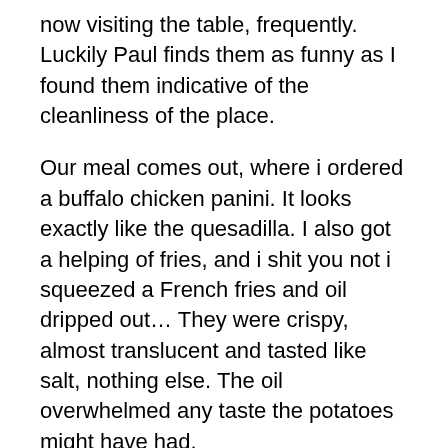now visiting the table, frequently. Luckily Paul finds them as funny as I found them indicative of the cleanliness of the place.
Our meal comes out, where i ordered a buffalo chicken panini. It looks exactly like the quesadilla. I also got a helping of fries, and i shit you not i squeezed a French fries and oil dripped out… They were crispy, almost translucent and tasted like salt, nothing else. The oil overwhelmed any taste the potatoes might have had.
I questioned the server about the Panini, asking her why the panini was just like the quesedilla. She told me they were very similar. I shit you not this was a burnt pizza crust with buffalo chicken